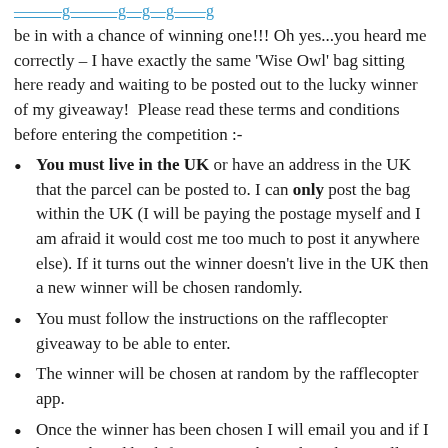[link text partially visible at top]
be in with a chance of winning one!!! Oh yes...you heard me correctly – I have exactly the same 'Wise Owl' bag sitting here ready and waiting to be posted out to the lucky winner of my giveaway!  Please read these terms and conditions before entering the competition :-
You must live in the UK or have an address in the UK that the parcel can be posted to. I can only post the bag within the UK (I will be paying the postage myself and I am afraid it would cost me too much to post it anywhere else). If it turns out the winner doesn't live in the UK then a new winner will be chosen randomly.
You must follow the instructions on the rafflecopter giveaway to be able to enter.
The winner will be chosen at random by the rafflecopter app.
Once the winner has been chosen I will email you and if I haven't heard back from you within 3 days then I will need to pick a new winner.